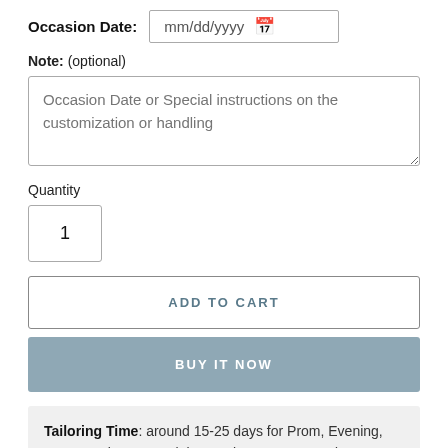Occasion Date: mm/dd/yyyy
Note: (optional)
Occasion Date or Special instructions on the customization or handling
Quantity
1
ADD TO CART
BUY IT NOW
Tailoring Time: around 15-25 days for Prom, Evening, Homecoming & Special Occasion Dresses, and 20-30 days for Wedding Dresses.
Shipping Time: 2-10 Days
This dress is Made-To-Order. Whether you choose a standard size or custom measurements, our tailors